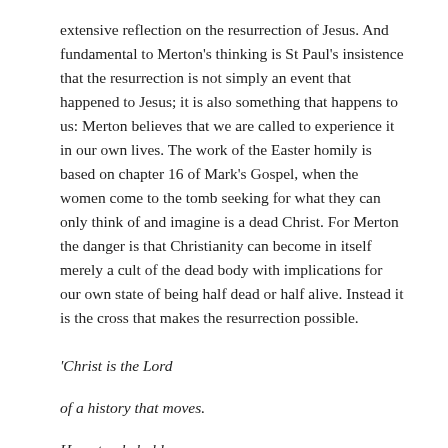extensive reflection on the resurrection of Jesus. And fundamental to Merton's thinking is St Paul's insistence that the resurrection is not simply an event that happened to Jesus; it is also something that happens to us: Merton believes that we are called to experience it in our own lives. The work of the Easter homily is based on chapter 16 of Mark's Gospel, when the women come to the tomb seeking for what they can only think of and imagine is a dead Christ. For Merton the danger is that Christianity can become in itself merely a cult of the dead body with implications for our own state of being half dead or half alive. Instead it is the cross that makes the resurrection possible.
'Christ is the Lord

of a history that moves.

He not only holds